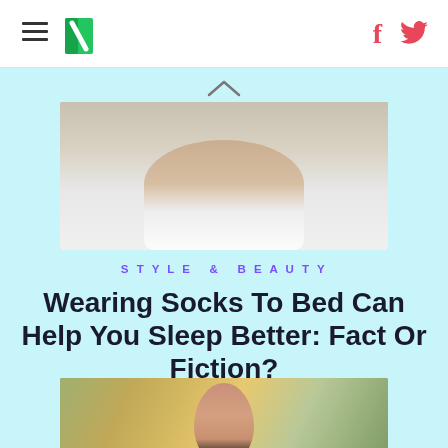HuffPost
[Figure (photo): Person's feet and socks on a bed with white bedding, viewed from above]
STYLE & BEAUTY
Wearing Socks To Bed Can Help You Sleep Better: Fact Or Fiction?
[Figure (photo): Woman with dark hair wearing a floral dress, photographed outdoors with foliage in background]